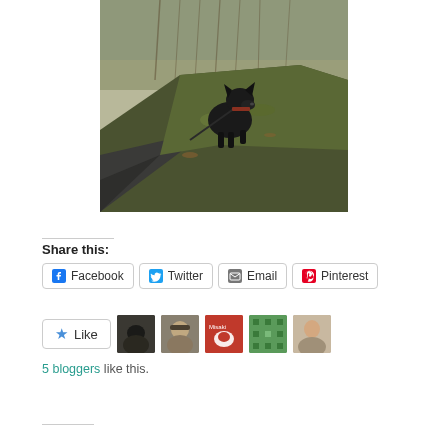[Figure (photo): A black Scottish Terrier dog on a leash standing on a grassy muddy bank beside a flooded murky river, surrounded by bare trees.]
Share this:
Facebook  Twitter  Email  Pinterest
Like
5 bloggers like this.